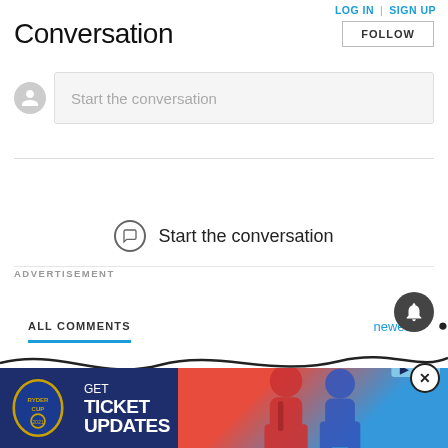LOG IN | SIGN UP
Conversation
FOLLOW
Start the conversation
ALL COMMENTS
newest
Start the conversation
ADVERTISEMENT
[Figure (screenshot): Ryder Cup advertisement banner with GET TICKET UPDATES text and golf players photo]